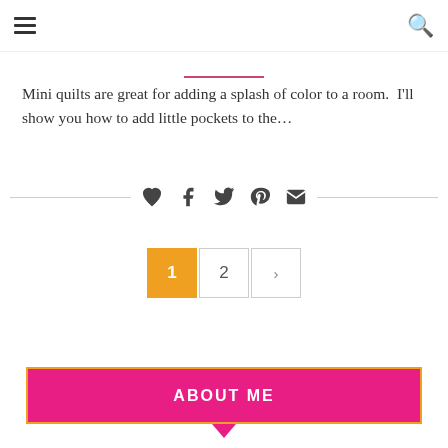≡  🔍
Mini quilts are great for adding a splash of color to a room.  I'll show you how to add little pockets to the...
[Figure (other): Social share icons row: heart, Facebook, Twitter, Pinterest, email envelope, flanked by horizontal lines]
[Figure (other): Pagination: page 1 (active, orange), page 2, next arrow button]
ABOUT ME